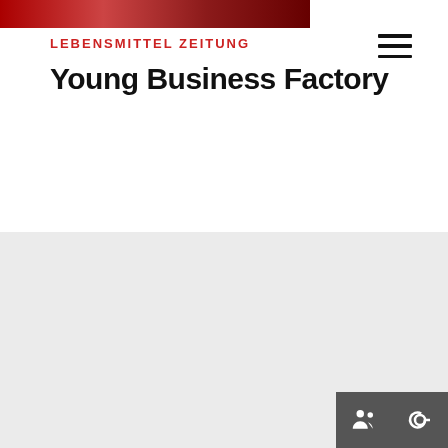[Figure (photo): Partial photo strip at top of page showing red/dark tones]
LEBENSMITTEL ZEITUNG
Young Business Factory
[Figure (logo): LZ Medien logo with red L and black Z letters above MEDIEN text]
LEBENSMITTEL ZEITUNG